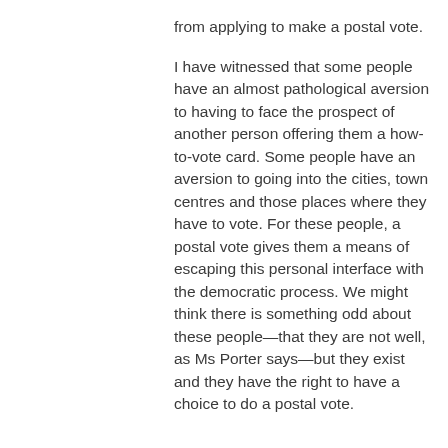from applying to make a postal vote.

I have witnessed that some people have an almost pathological aversion to having to face the prospect of another person offering them a how-to-vote card. Some people have an aversion to going into the cities, town centres and those places where they have to vote. For these people, a postal vote gives them a means of escaping this personal interface with the democratic process. We might think there is something odd about these people—that they are not well, as Ms Porter says—but they exist and they have the right to have a choice to do a postal vote.